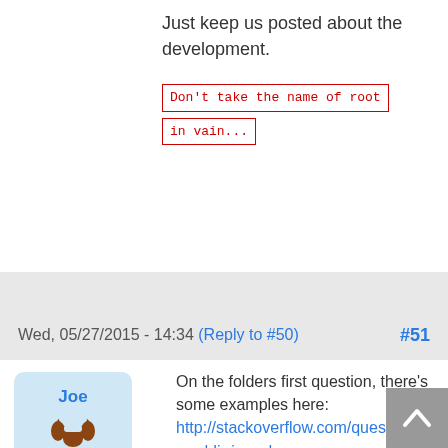Just keep us posted about the development.
Don't take the name of root in vain...
Wed, 05/27/2015 - 14:34 (Reply to #50) #51
On the folders first question, there's some examples here: http://stackoverflow.com/questions/16 readdir-in-order
I haven't tried them, but the selected answer looks solid and doesn't require any non-standard